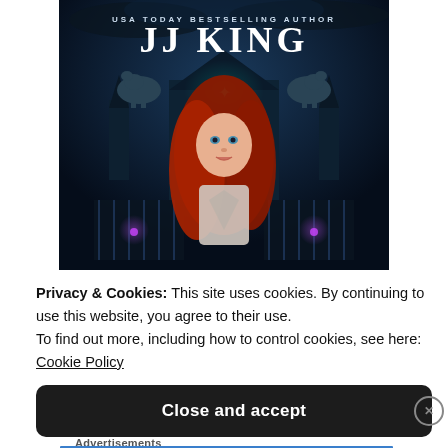[Figure (illustration): Book cover for a fantasy novel by JJ King (USA Today Bestselling Author). Features a young red-haired woman in a white top standing in front of a gothic mansion gate flanked by stone gargoyle/wolf statues on pillars. Dark blue/purple moody background with glowing teal and purple lights. The author name 'JJ KING' is displayed in large white letters with 'USA TODAY BESTSELLING AUTHOR' above it.]
Privacy & Cookies: This site uses cookies. By continuing to use this website, you agree to their use.
To find out more, including how to control cookies, see here: Cookie Policy
Close and accept
Advertisements